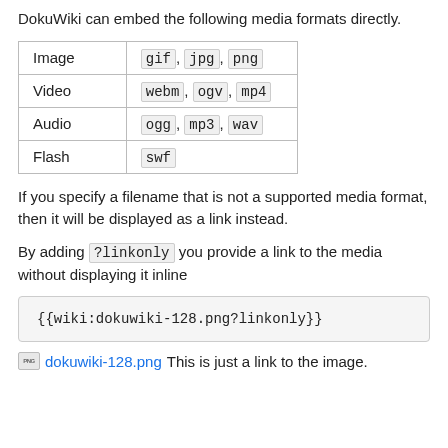DokuWiki can embed the following media formats directly.
|  |  |
| --- | --- |
| Image | gif, jpg, png |
| Video | webm, ogv, mp4 |
| Audio | ogg, mp3, wav |
| Flash | swf |
If you specify a filename that is not a supported media format, then it will be displayed as a link instead.
By adding ?linkonly you provide a link to the media without displaying it inline
{{wiki:dokuwiki-128.png?linkonly}}
dokuwiki-128.png This is just a link to the image.